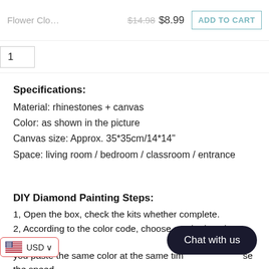Flower Clo...  $14.98  $8.99  ADD TO CART
1
Specifications:
Material: rhinestones + canvas
Color: as shown in the picture
Canvas size: Approx. 35*35cm/14*14"
Space: living room / bedroom / classroom / entrance
DIY Diamond Painting Steps:
1, Open the box, check the kits whether complete.
2, According to the color code, choose a color into the plate;If you paste the same color at the same tim... se the speed.
ymbols in picture, beginning paste until finish it.
4. When you finish it put some books on top, let it more firmly